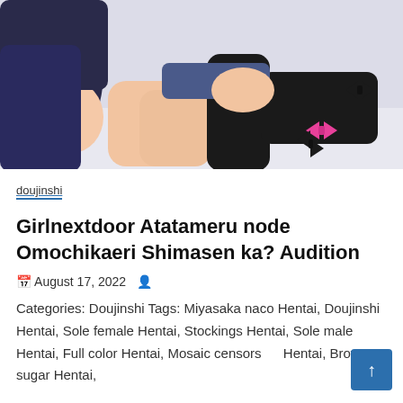[Figure (illustration): Anime-style illustration showing a female character with black stockings and a school uniform, sitting/kneeling on the floor with bow accessories scattered around]
doujinshi
Girlnextdoor Atatameru node Omochikaeri Shimasen ka? Audition
August 17, 2022
Categories: Doujinshi Tags: Miyasaka naco Hentai, Doujinshi Hentai, Sole female Hentai, Stockings Hentai, Sole male Hentai, Full color Hentai, Mosaic censorship Hentai, Brown sugar Hentai,